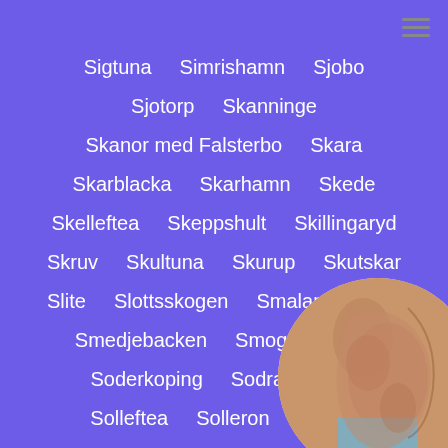Sigtuna
Simrishamn
Sjobo
Sjotorp
Skanninge
Skanor med Falsterbo
Skara
Skarblacka
Skarhamn
Skede
Skelleftea
Skeppshult
Skillingaryd
Skruv
Skultuna
Skurup
Skutskar
Slite
Slottsskogen
Smalandsstenar
Smedjebacken
Smogen
Sod
Soderkoping
Sodra Sandby
Solleftea
Solleron
Solves
[Figure (photo): Circular cropped photo of a person's torso, partially obscured, overlaid on the bottom-right corner of the page.]